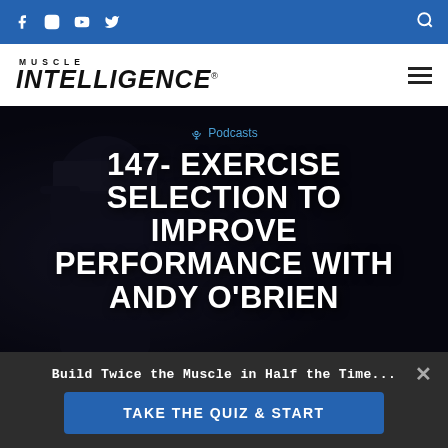Muscle Intelligence website header with social icons (Facebook, Instagram, YouTube, Twitter) and search icon on blue bar
[Figure (logo): Muscle Intelligence logo — MUSCLE in small caps above INTELLIGENCE in large bold italic letters]
[Figure (photo): Dark hero image of a person wearing a cap with 'Educate & Dominate' text, mostly silhouetted against dark background]
Podcasts
147- EXERCISE SELECTION TO IMPROVE PERFORMANCE WITH ANDY O'BRIEN
Build Twice the Muscle in Half the Time...
TAKE THE QUIZ & START